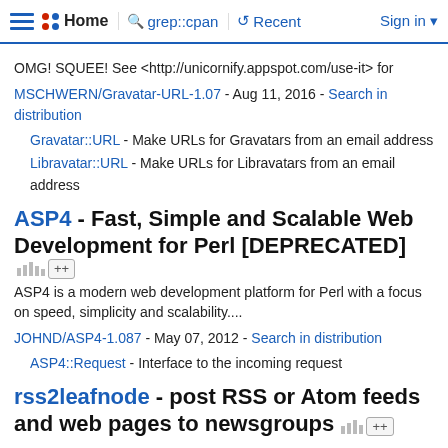Home  grep::cpan  Recent  Sign in
OMG! SQUEE! See <http://unicornify.appspot.com/use-it> for
MSCHWERN/Gravatar-URL-1.07 - Aug 11, 2016 - Search in distribution
Gravatar::URL - Make URLs for Gravatars from an email address
Libravatar::URL - Make URLs for Libravatars from an email address
ASP4 - Fast, Simple and Scalable Web Development for Perl [DEPRECATED]
ASP4 is a modern web development platform for Perl with a focus on speed, simplicity and scalability....
JOHND/ASP4-1.087 - May 07, 2012 - Search in distribution
ASP4::Request - Interface to the incoming request
rss2leafnode - post RSS or Atom feeds and web pages to newsgroups